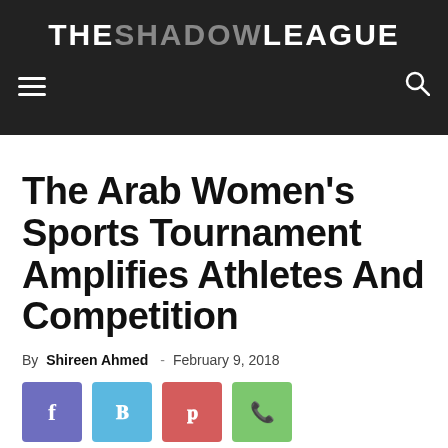THE SHADOW LEAGUE
The Arab Women's Sports Tournament Amplifies Athletes And Competition
By Shireen Ahmed - February 9, 2018
[Figure (other): Social media share buttons: Facebook, Twitter, Pinterest, WhatsApp]
The 2018 Winter Olympics are upon us. There is much buzz around them, and among the...